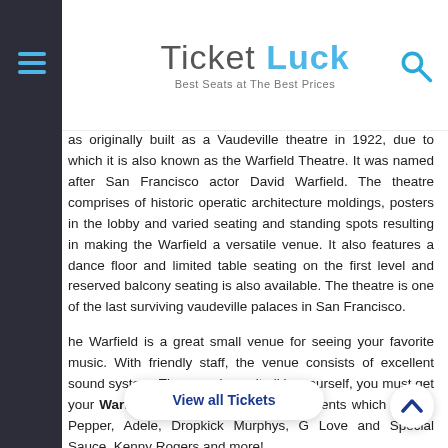Ticket Luck — Best Seats at The Best Prices
as originally built as a Vaudeville theatre in 1922, due to which it is also known as the Warfield Theatre. It was named after San Francisco actor David Warfield. The theatre comprises of historic operatic architecture moldings, posters in the lobby and varied seating and standing spots resulting in making the Warfield a versatile venue. It also features a dance floor and limited table seating on the first level and reserved balcony seating is also available. The theatre is one of the last surviving vaudeville palaces in San Francisco.
The Warfield is a great small venue for seeing your favorite music. With friendly staff, the venue consists of excellent sound system. The experience it all by yourself, you must get your Warfield Tickets to its upcoming events which include Pepper, Adele, Dropkick Murphys, G Love and Special Sauce, Kenny Rogers and more!